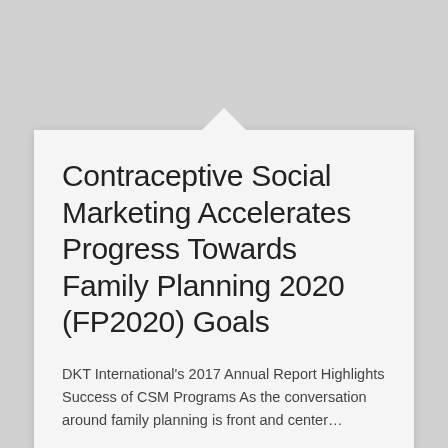Contraceptive Social Marketing Accelerates Progress Towards Family Planning 2020 (FP2020) Goals
DKT International's 2017 Annual Report Highlights Success of CSM Programs As the conversation around family planning is front and center…